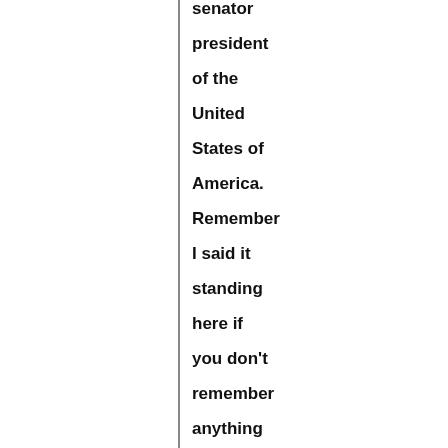senator president of the United States of America. Remember I said it standing here if you don't remember anything else I said. Watch, we're gonna